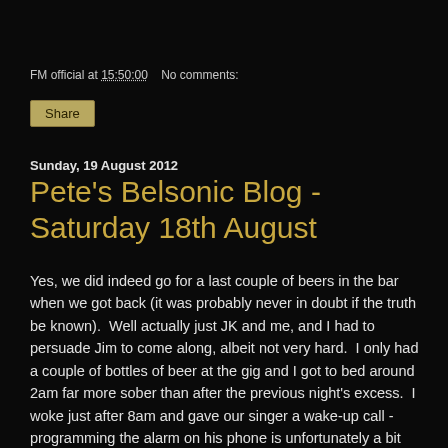FM official at 15:50:00   No comments:
Share
Sunday, 19 August 2012
Pete's Belsonic Blog - Saturday 18th August
Yes, we did indeed go for a last couple of beers in the bar when we got back (it was probably never in doubt if the truth be known).  Well actually just JK and me, and I had to persuade Jim to come along, albeit not very hard.  I only had a couple of bottles of beer at the gig and I got to bed around 2am far more sober than after the previous night's excess.  I woke just after 8am and gave our singer a wake-up call - programming the alarm on his phone is unfortunately a bit beyond the poor love...  Read more...